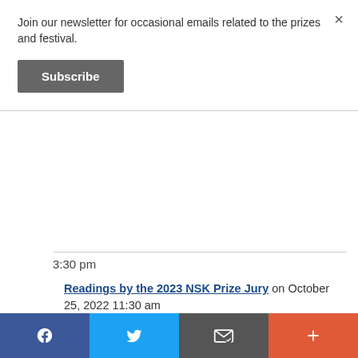Join our newsletter for occasional emails related to the prizes and festival.
Subscribe
3:30 pm
Readings by the 2023 NSK Prize Jury on October 25, 2022 11:30 am
NSK Prize Announcement on October 25, 2022 1:45 pm
Boubacar Boris Diop and Bojana Coulibaly – A Conversation about Writing Africa Today on October 25, 2022 2:00 pm
The 2022 Neustadt Prize Keynote by Boubacar
Facebook | Twitter | Email | More